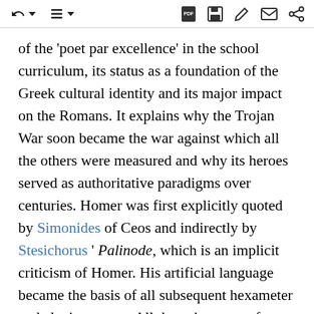of the 'poet par excellence' in the school curriculum, its status as a foundation of the Greek cultural identity and its major impact on the Romans. It explains why the Trojan War soon became the war against which all the others were measured and why its heroes served as authoritative paradigms over centuries. Homer was first explicitly quoted by Simonides of Ceos and indirectly by Stesichorus ' Palinode, which is an implicit criticism of Homer. His artificial language became the basis of all subsequent hexameter and elegiac poetry. All the epic poems, from the Hellenistic Argonautica of Apollonius Rhodius and the miniature epics of Callimachus and Theocritus to the Aeneid of Virgil , and the late productions of